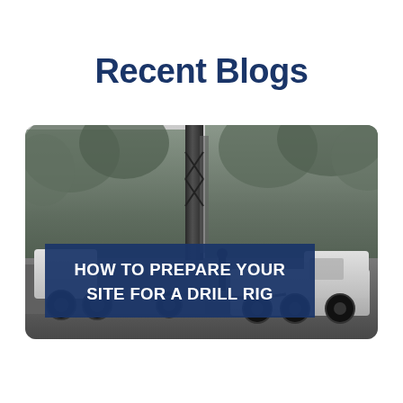Recent Blogs
[Figure (photo): Black and white photograph of a drill rig truck in a forested area, with a blue overlay banner reading HOW TO PREPARE YOUR SITE FOR A DRILL RIG]